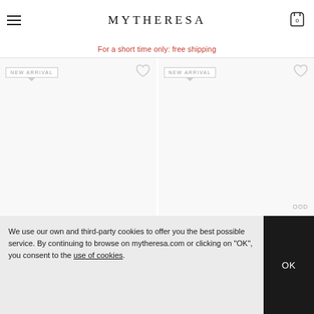MYTHERESA
For a short time only: free shipping
ELLA MCCARTNEY KIDS • € 100
MCCARTNEY KIDS • € 145
[Figure (screenshot): Two product image grid cards, each with NEW ARRIVAL badge and heart (wishlist) icon. Product images are blank/loading white areas.]
We use our own and third-party cookies to offer you the best possible service. By continuing to browse on mytheresa.com or clicking on "OK", you consent to the use of cookies.